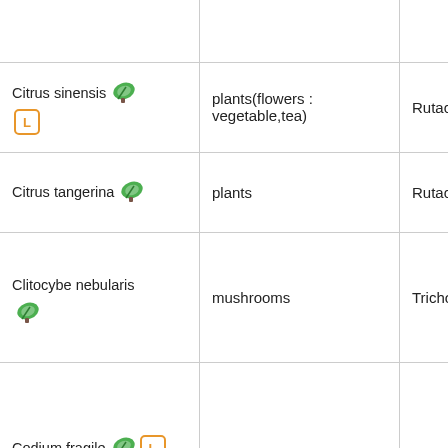| Name | Category | Family |
| --- | --- | --- |
|  |  |  |
| Citrus sinensis [leaf-icon] [L] | plants(flowers : vegetable,tea) | Rutaceae |
| Citrus tangerina [leaf-icon] | plants | Rutaceae |
| Clitocybe nebularis [leaf-icon] | mushrooms | Tricholomat... |
| Codium fragile [leaf-icon] [L] | green algae | Codiaceae |